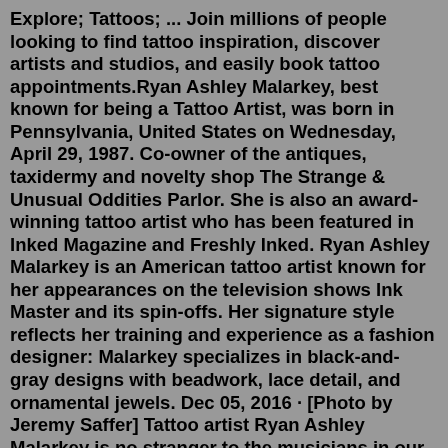Explore; Tattoos; ... Join millions of people looking to find tattoo inspiration, discover artists and studios, and easily book tattoo appointments.Ryan Ashley Malarkey, best known for being a Tattoo Artist, was born in Pennsylvania, United States on Wednesday, April 29, 1987. Co-owner of the antiques, taxidermy and novelty shop The Strange & Unusual Oddities Parlor. She is also an award-winning tattoo artist who has been featured in Inked Magazine and Freshly Inked. Ryan Ashley Malarkey is an American tattoo artist known for her appearances on the television shows Ink Master and its spin-offs. Her signature style reflects her training and experience as a fashion designer: Malarkey specializes in black-and-gray designs with beadwork, lace detail, and ornamental jewels. Dec 05, 2016 · [Photo by Jeremy Saffer] Tattoo artist Ryan Ashley Malarkey is no stranger to the musicians in our scene. Her work can be seen on New Years Day's Ash Costello and In This Moment's Maria Brink ... Co-owner of the antiques, taxidermy and novelty shop The Strange & Unusual Oddities